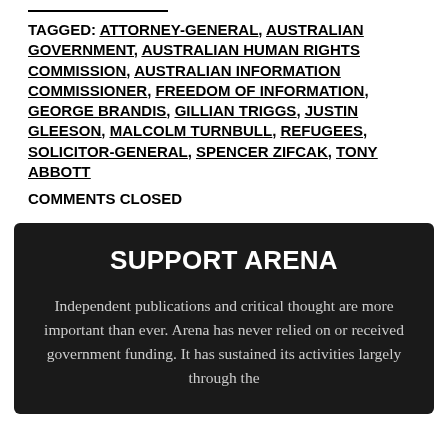TAGGED: ATTORNEY-GENERAL, AUSTRALIAN GOVERNMENT, AUSTRALIAN HUMAN RIGHTS COMMISSION, AUSTRALIAN INFORMATION COMMISSIONER, FREEDOM OF INFORMATION, GEORGE BRANDIS, GILLIAN TRIGGS, JUSTIN GLEESON, MALCOLM TURNBULL, REFUGEES, SOLICITOR-GENERAL, SPENCER ZIFCAK, TONY ABBOTT
COMMENTS CLOSED
SUPPORT ARENA
Independent publications and critical thought are more important than ever. Arena has never relied on or received government funding. It has sustained its activities largely through the